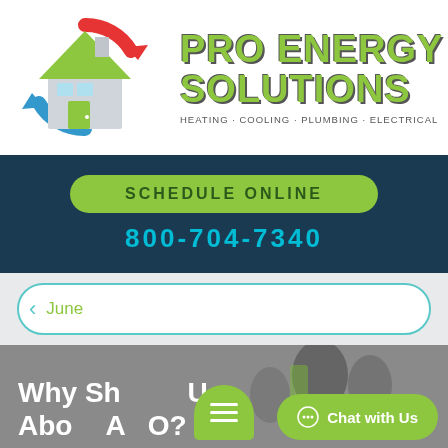[Figure (logo): Pro Energy Solutions logo: house icon with red/blue circular arrows and green roof]
PRO ENERGY SOLUTIONS
HEATING · COOLING · PLUMBING · ELECTRICAL
SCHEDULE ONLINE
800-704-7340
June
[Figure (photo): Background photo of people in an office/meeting setting, partially obscured by UI elements]
Why Sh... I U...
Abo...   ...AO?
Chat with Us